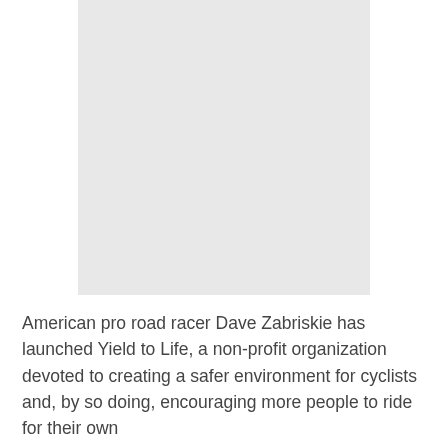[Figure (photo): A light gray rectangular placeholder image occupying the upper portion of the page.]
American pro road racer Dave Zabriskie has launched Yield to Life, a non-profit organization devoted to creating a safer environment for cyclists and, by so doing, encouraging more people to ride for their own